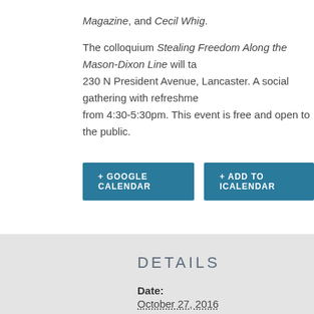Magazine, and Cecil Whig.
The colloquium Stealing Freedom Along the Mason-Dixon Line will ta 230 N President Avenue, Lancaster. A social gathering with refreshme from 4:30-5:30pm. This event is free and open to the public.
+ GOOGLE CALENDAR
+ ADD TO ICALENDAR
DETAILS
Date:
October 27, 2016
Time:
12:00 pm – 4:00 pm
Cost:
Free